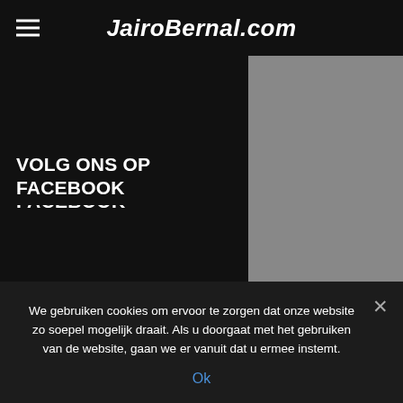JairoBernal.com
[Figure (screenshot): Search input box with Search button]
VOLG ONS OP FACEBOOK
MEEST GELEZEN
[Figure (photo): Crowd of people thumbnail image]
De werkloosheid in Colombia bedroeg in juli 11%
We gebruiken cookies om ervoor te zorgen dat onze website zo soepel mogelijk draait. Als u doorgaat met het gebruiken van de website, gaan we er vanuit dat u ermee instemt.
Ok